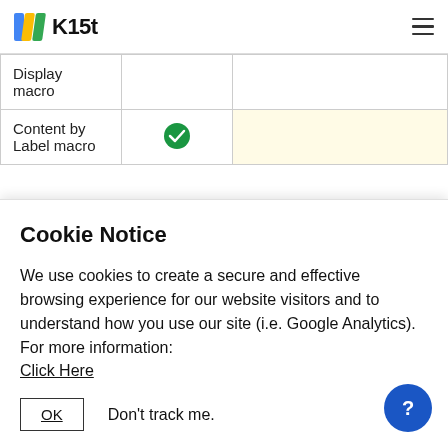K15t
|  |  |  |
| --- | --- | --- |
| Display macro |  |  |
| Content by Label macro | ✓ |  |
Cookie Notice
We use cookies to create a secure and effective browsing experience for our website visitors and to understand how you use our site (i.e. Google Analytics). For more information:
Click Here
OK   Don't track me.